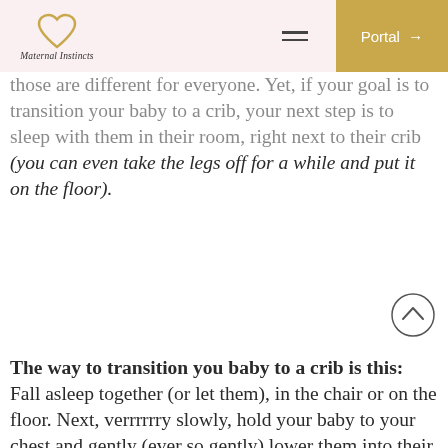Maternal Instincts | Portal
those are different for everyone. Yet, if your goal is to transition your baby to a crib, your next step is to sleep with them in their room, right next to their crib (you can even take the legs off for a while and put it on the floor).
The way to transition you baby to a crib is this: Fall asleep together (or let them), in the chair or on the floor. Next, verrrrrry slowly, hold your baby to your chest and gently (ever so gently) lower them into their crib while maintaining contact with your baby fully on your chest (to hear your